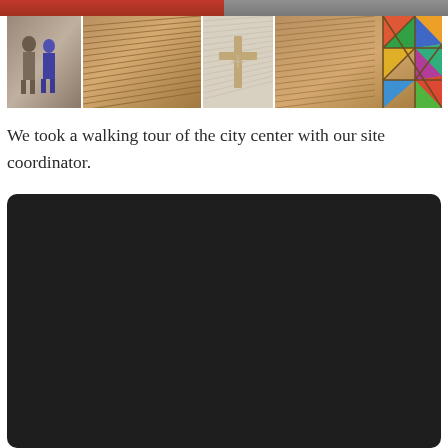[Figure (photo): Top strip: two photos partially visible at very top of page (reddish and gray/brown tones)]
[Figure (photo): Row of four photos: (1) people walking in a building entry, (2) wooden slat ceiling interior of a building, (3) wooden cross on a light wall, (4) colorful stained glass window with geometric triangular patterns]
We took a walking tour of the city center with our site coordinator.
[Figure (photo): Large dark/black rectangle, appears to be a dark or underexposed photo with rounded corners]